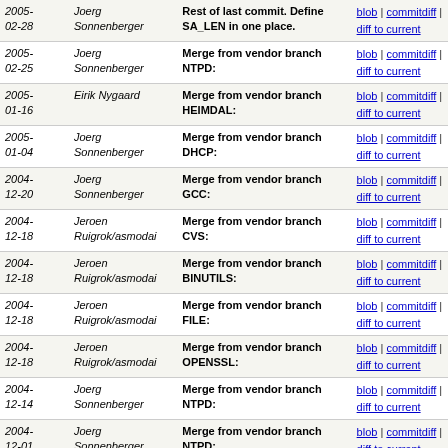| Date | Author | Message | Links |
| --- | --- | --- | --- |
| 2005-02-28 | Joerg Sonnenberger | Rest of last commit. Define SA_LEN in one place. | blob | commitdiff | diff to current |
| 2005-02-25 | Joerg Sonnenberger | Merge from vendor branch NTPD: | blob | commitdiff | diff to current |
| 2005-01-16 | Eirik Nygaard | Merge from vendor branch HEIMDAL: | blob | commitdiff | diff to current |
| 2005-01-04 | Joerg Sonnenberger | Merge from vendor branch DHCP: | blob | commitdiff | diff to current |
| 2004-12-20 | Joerg Sonnenberger | Merge from vendor branch GCC: | blob | commitdiff | diff to current |
| 2004-12-18 | Jeroen Ruigrok/asmodai | Merge from vendor branch CVS: | blob | commitdiff | diff to current |
| 2004-12-18 | Jeroen Ruigrok/asmodai | Merge from vendor branch BINUTILS: | blob | commitdiff | diff to current |
| 2004-12-18 | Jeroen Ruigrok/asmodai | Merge from vendor branch FILE: | blob | commitdiff | diff to current |
| 2004-12-18 | Jeroen Ruigrok/asmodai | Merge from vendor branch OPENSSL: | blob | commitdiff | diff to current |
| 2004-12-14 | Joerg Sonnenberger | Merge from vendor branch NTPD: | blob | commitdiff | diff to current |
| 2004-12-01 | Joerg Sonnenberger | Merge from vendor branch NTPD: | blob | commitdiff | diff to current |
| 2004-12-01 | Joerg Sonnenberger | Merge from vendor branch NTPD: | blob | commitdiff | diff to current |
| 2004-11-14 | Joerg Sonnenberger | Merge from vendor branch GDB: | blob | commitdiff | diff to current |